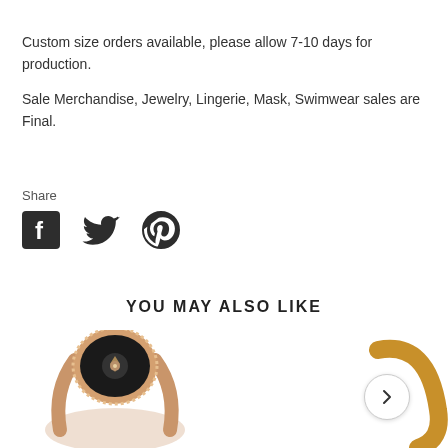Custom size orders available, please allow 7-10 days for production.
Sale Merchandise, Jewelry, Lingerie, Mask, Swimwear sales are Final.
Share
[Figure (infographic): Social media share icons: Facebook, Twitter, Pinterest]
YOU MAY ALSO LIKE
[Figure (photo): Rose gold ring with black enamel center and diamond halo, partially visible at bottom of page]
[Figure (photo): Gold hoop earring partially visible at bottom right, with a right-arrow navigation button]